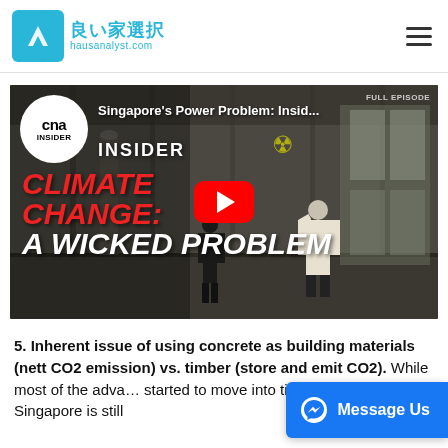良い家選択 hausanalyst.com
[Figure (screenshot): YouTube video thumbnail from CNA Insider showing 'Singapore's Power Problem: Insid...' with text overlays reading 'CLIMATE CHANGE: A WICKED PROBLEM' and a red play button in the center. Two people are visible in an industrial warehouse setting.]
5. Inherent issue of using concrete as building materials (nett CO2 emission) vs. timber (store and emit CO2). While most of the adva... started to move into timber construction, Singapore is still